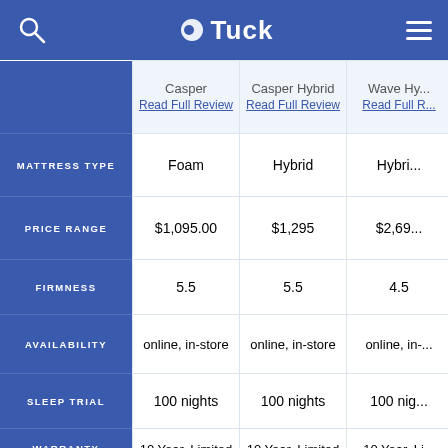Tuck
|  | Casper | Casper Hybrid | Wave Hy... |
| --- | --- | --- | --- |
|  | Read Full Review | Read Full Review | Read Full R... |
| MATTRESS TYPE | Foam | Hybrid | Hybri... |
| PRICE RANGE | $1,095.00 | $1,295 | $2,69... |
| FIRMNESS | 5.5 | 5.5 | 4.5 |
| AVAILABILITY | online, in-store | online, in-store | online, in-... |
| SLEEP TRIAL | 100 nights | 100 nights | 100 nig... |
| WARRANTY LENGTH | 10 Year, Limited | 10 Year, Limited | 10 Year, Li... |